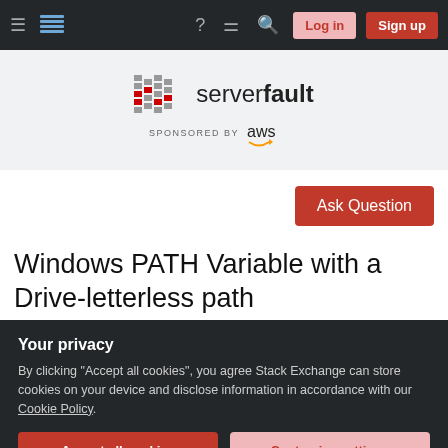Server Fault navigation bar with Log in and Sign up buttons
[Figure (logo): Server Fault logo with bar chart icon and 'serverfault' text, sponsored by AWS]
Ask Question
Windows PATH Variable with a Drive-letterless path
Asked 4 years, 4 months ago   Modified 4 years, 4 months ago
Your privacy
By clicking "Accept all cookies", you agree Stack Exchange can store cookies on your device and disclose information in accordance with our Cookie Policy.
Accept all cookies   Customize settings
drives. The build tools are reached by adding